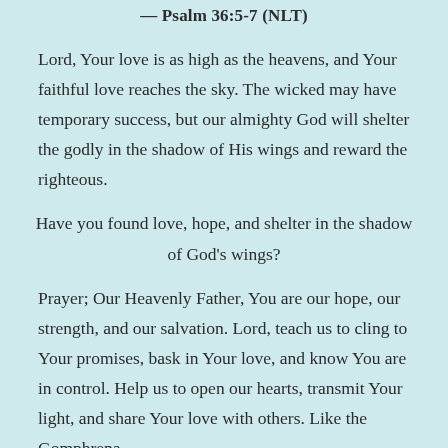— Psalm 36:5-7 (NLT)
Lord, Your love is as high as the heavens, and Your faithful love reaches the sky. The wicked may have temporary success, but our almighty God will shelter the godly in the shadow of His wings and reward the righteous.
Have you found love, hope, and shelter in the shadow of God's wings?
Prayer; Our Heavenly Father, You are our hope, our strength, and our salvation. Lord, teach us to cling to Your promises, bask in Your love, and know You are in control. Help us to open our hearts, transmit Your light, and share Your love with others. Like the Gomphrena flower, let the flower stand, calling to all divinity…